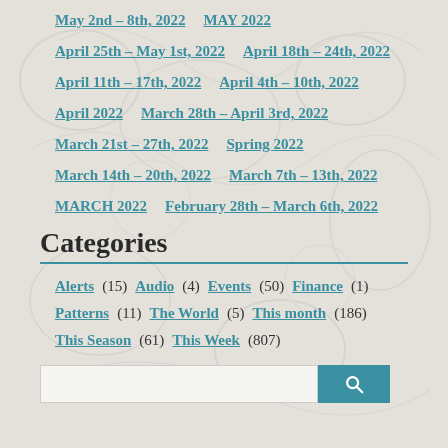May 2nd – 8th, 2022   MAY 2022
April 25th – May 1st, 2022   April 18th – 24th, 2022
April 11th – 17th, 2022   April 4th – 10th, 2022
April 2022   March 28th – April 3rd, 2022
March 21st – 27th, 2022   Spring 2022
March 14th – 20th, 2022   March 7th – 13th, 2022
MARCH 2022   February 28th – March 6th, 2022
Categories
Alerts (15)  Audio (4)  Events (50)  Finance (1)
Patterns (11)  The World (5)  This month (186)
This Season (61)  This Week (807)